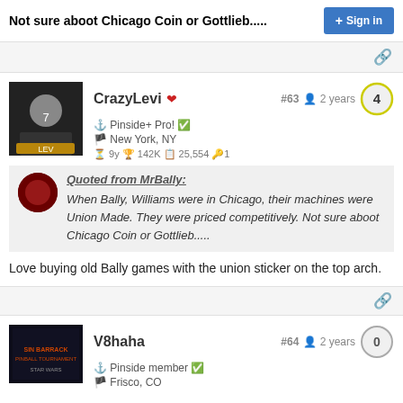Not sure aboot Chicago Coin or Gottlieb.....
CrazyLevi ❤ #63 👤 2 years | Pinside+ Pro! ✅ | 🏳 New York, NY | 🕐 9y 🏆 142K 📋 25,554 🔑 1
Quoted from MrBally: When Bally, Williams were in Chicago, their machines were Union Made. They were priced competitively. Not sure aboot Chicago Coin or Gottlieb.....
Love buying old Bally games with the union sticker on the top arch.
V8haha #64 👤 2 years | Pinside member ✅